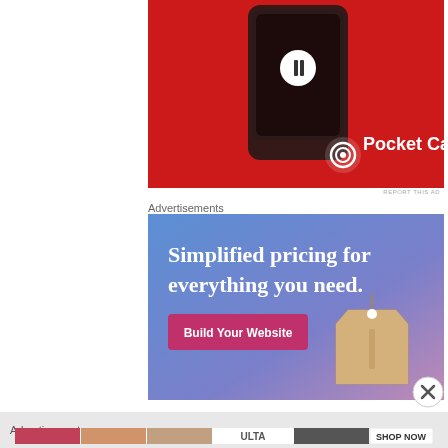[Figure (photo): Pocket Casts advertisement showing a red phone with podcast app on red background with Pocket Casts logo]
REPORT THIS AD
Advertisements
[Figure (photo): Advertisement with blue-to-purple gradient background showing 'Simplified pricing for everything you need.' with a pink 'Build Your Website' button and a hanging price tag image]
[Figure (photo): Close X button on right side]
Advertisements
[Figure (photo): ULTA Beauty advertisement showing makeup images including red lips, brushes, eye makeup, ULTA logo, and close-up eyes with 'SHOP NOW' text]